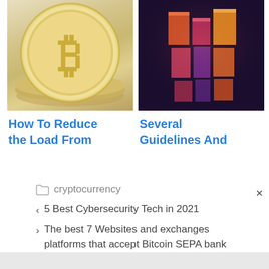[Figure (photo): Bitcoin gold coin stacked with other coins on light background]
How To Reduce the Load From
[Figure (photo): Abstract colorful 3D blocks in pink, orange, and purple tones]
Several Guidelines And
cryptocurrency
5 Best Cybersecurity Tech in 2021
The best 7 Websites and exchanges platforms that accept Bitcoin SEPA bank transfers.